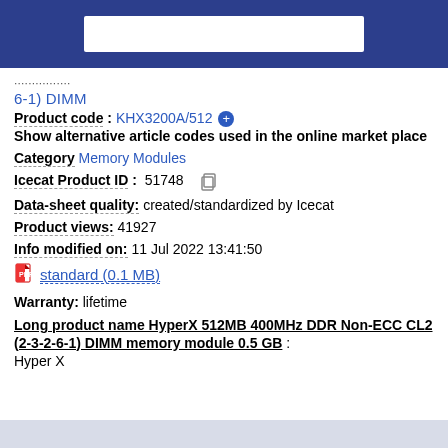(top navigation bar with search box)
6-1) DIMM
Product code : KHX3200A/512 [+]
Show alternative article codes used in the online market place
Category Memory Modules
Icecat Product ID : 51748
Data-sheet quality: created/standardized by Icecat
Product views: 41927
Info modified on: 11 Jul 2022 13:41:50
standard (0.1 MB)
Warranty: lifetime
Long product name HyperX 512MB 400MHz DDR Non-ECC CL2 (2-3-2-6-1) DIMM memory module 0.5 GB : Hyper X